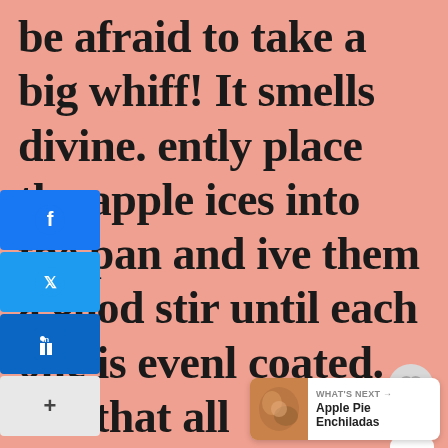be afraid to take a big whiff! It smells divine. ently place the apple ices into the pan and ive them a good stir until each one is evenl coated. Let that all
[Figure (screenshot): Social media share sidebar with Facebook, Twitter, LinkedIn buttons and a plus button]
[Figure (screenshot): Heart/save button, share count showing 1, and share icon button]
[Figure (screenshot): What's Next widget showing Apple Pie Enchiladas with food photo thumbnail]